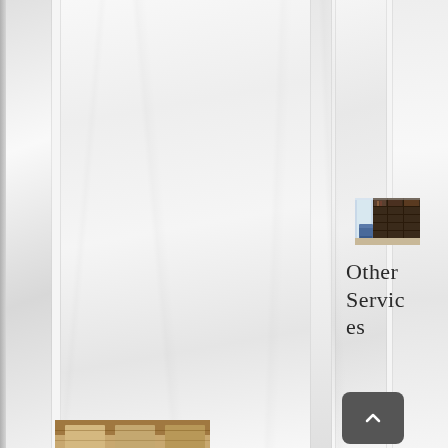[Figure (photo): Interior room photo showing dark wood built-in bookcase/shelving with a blue chair, viewed from an angle. Partially visible bottom thumbnail of another interior.]
Other Services